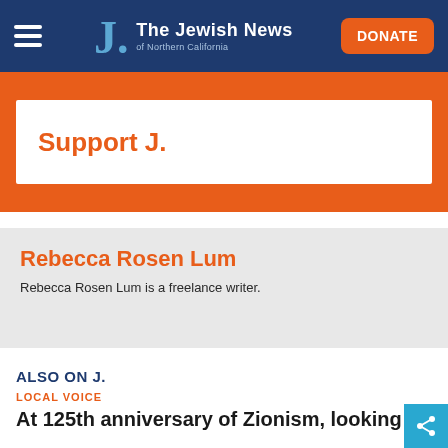The Jewish News of Northern California
Support J.
Rebecca Rosen Lum
Rebecca Rosen Lum is a freelance writer.
ALSO ON J.
LOCAL VOICE
At 125th anniversary of Zionism, looking